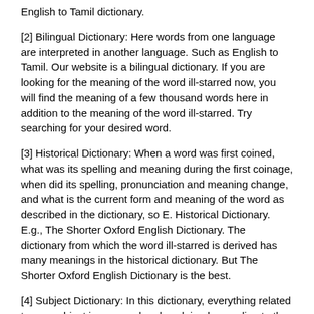English to Tamil dictionary.
[2] Bilingual Dictionary: Here words from one language are interpreted in another language. Such as English to Tamil. Our website is a bilingual dictionary. If you are looking for the meaning of the word ill-starred now, you will find the meaning of a few thousand words here in addition to the meaning of the word ill-starred. Try searching for your desired word.
[3] Historical Dictionary: When a word was first coined, what was its spelling and meaning during the first coinage, when did its spelling, pronunciation and meaning change, and what is the current form and meaning of the word as described in the dictionary, so E. Historical Dictionary. E.g., The Shorter Oxford English Dictionary. The dictionary from which the word ill-starred is derived has many meanings in the historical dictionary. But The Shorter Oxford English Dictionary is the best.
[4] Subject Dictionary: In this dictionary, everything related to any subject is arranged and explained according to the dictionary. For example — Dictionary of History, Dictionary of Botany, Dictionary of Economics. In addition to ill-starred, many words from the subject dictionary can be found here. There are several dictionaries available on the